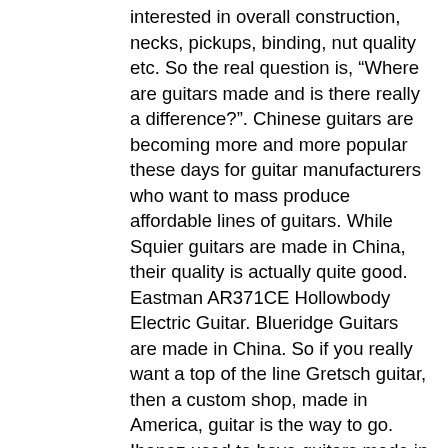interested in overall construction, necks, pickups, binding, nut quality etc. So the real question is, “Where are guitars made and is there really a difference?”. Chinese guitars are becoming more and more popular these days for guitar manufacturers who want to mass produce affordable lines of guitars. While Squier guitars are made in China, their quality is actually quite good. Eastman AR371CE Hollowbody Electric Guitar. Blueridge Guitars are made in China. So if you really want a top of the line Gretsch guitar, then a custom shop, made in America, guitar is the way to go. Ibanez used to have guitars made in South Korea in the past, but have since moved production of those guitars over to either Indonesia or China. Each Thinline Electric model has unique characteristics made possible by carefully crafted differences in body style, size and tonewoods. The new Eastman solid body electric guitars are made with premium tone woods and quality electronics that result in a truly special instrument. Overall, Chinese guitars are seen as the lowest quality among the overseas manufacturers (but not